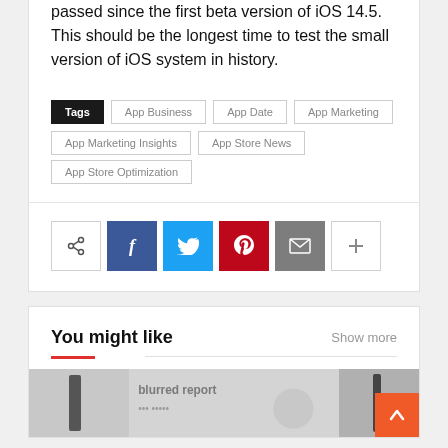passed since the first beta version of iOS 14.5. This should be the longest time to test the small version of iOS system in history.
Tags  App Business  App Date  App Marketing  App Marketing Insights  App Store News  App Store Optimization
[Figure (infographic): Social share buttons: share icon (outline), Facebook (blue), Twitter (blue), Pinterest (red), Email (grey), Plus/more (outline)]
You might like
Show more
[Figure (photo): Preview images of related articles at the bottom]